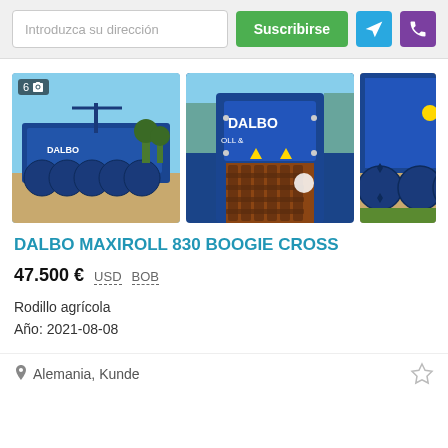Introduzca su dirección | Suscribirse
[Figure (photo): Three photos of a DALBO MAXIROLL 830 BOOGIE CROSS agricultural roller machine, shown from different angles. First image shows a wide-angle view of the machine in a field with a badge showing '6' photos. Second image shows close-up of the DALBO branded blue roller mechanism. Third image shows a partial side view of the blue machinery.]
DALBO MAXIROLL 830 BOOGIE CROSS
47.500 €  USD  BOB
Rodillo agrícola
Año: 2021-08-08
Alemania, Kunde